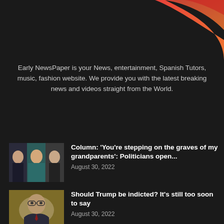[Figure (logo): Early NewsPaper logo — dark background with red/orange gradient swoosh/arrow shape in upper right]
Early NewsPaper is your News, entertainment, Spanish Tutors, music, fashion website. We provide you with the latest breaking news and videos straight from the World.
EVEN MORE NEWS
[Figure (photo): Composite photo of politicians including a woman in teal and two men]
Column: ‘You’re stepping on the graves of my grandparents’: Politicians open...
August 30, 2022
[Figure (photo): Photo of a man with glasses looking serious, yellow/flag background]
Should Trump be indicted? It’s still too soon to say
August 30, 2022